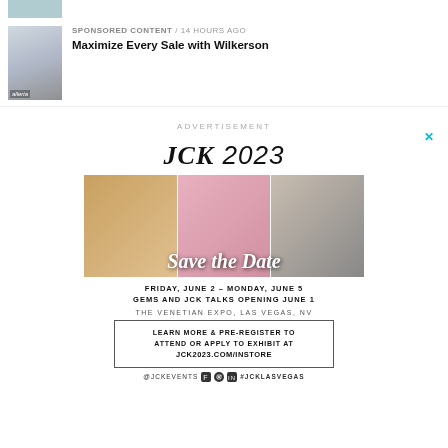[Figure (photo): Thumbnail photo of a person (partially cut off at top)]
SPONSORED CONTENT / 14 hours ago
Maximize Every Sale with Wilkerson
[Figure (photo): Thumbnail photo of a woman in a studio setting with 'alleria' overlay text]
ADVERTISEMENT
[Figure (infographic): JCK 2023 advertisement. Logo: JCK 2023. Three photos of jewelry show scene (rings, women, necklace). Cursive text: Save the Date. Bold text: FRIDAY, JUNE 2 – MONDAY, JUNE 5 / GEMS AND JCK TALKS OPENING JUNE 1. THE VENETIAN EXPO, LAS VEGAS, NV. Box: LEARN MORE & PRE-REGISTER TO ATTEND OR APPLY TO EXHIBIT AT JCK2023.COM/INSTORE. Footer: @JCKEVENTS [social icons] #JCKLASVEGAS]